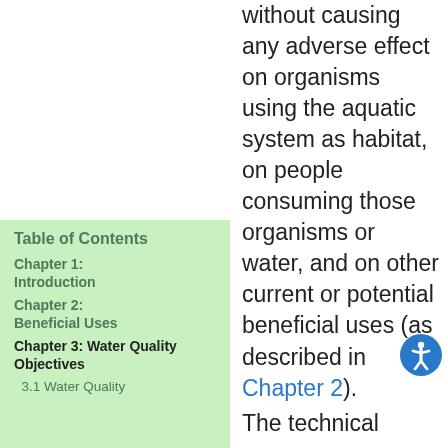without causing any adverse effect on organisms using the aquatic system as habitat, on people consuming those organisms or water, and on other current or potential beneficial uses (as described in Chapter 2).
Table of Contents
Chapter 1: Introduction
Chapter 2: Beneficial Uses
Chapter 3: Water Quality Objectives
3.1 Water Quality
The technical...